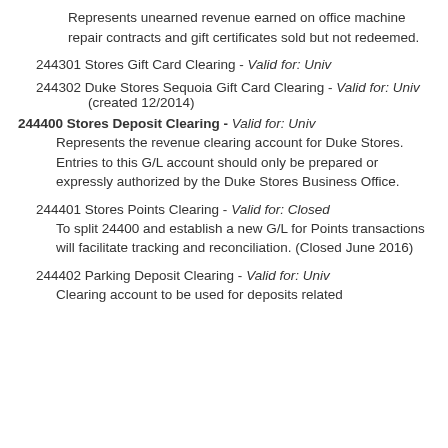Represents unearned revenue earned on office machine repair contracts and gift certificates sold but not redeemed.
244301 Stores Gift Card Clearing - Valid for: Univ
244302 Duke Stores Sequoia Gift Card Clearing - Valid for: Univ
(created 12/2014)
244400 Stores Deposit Clearing - Valid for: Univ
Represents the revenue clearing account for Duke Stores. Entries to this G/L account should only be prepared or expressly authorized by the Duke Stores Business Office.
244401 Stores Points Clearing - Valid for: Closed
To split 24400 and establish a new G/L for Points transactions will facilitate tracking and reconciliation. (Closed June 2016)
244402 Parking Deposit Clearing - Valid for: Univ
Clearing account to be used for deposits related